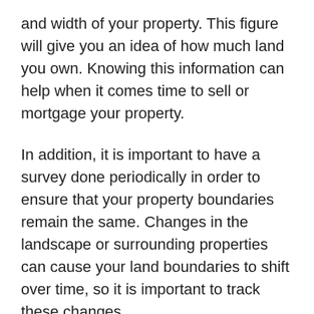and width of your property. This figure will give you an idea of how much land you own. Knowing this information can help when it comes time to sell or mortgage your property.
In addition, it is important to have a survey done periodically in order to ensure that your property boundaries remain the same. Changes in the landscape or surrounding properties can cause your land boundaries to shift over time, so it is important to track these changes.